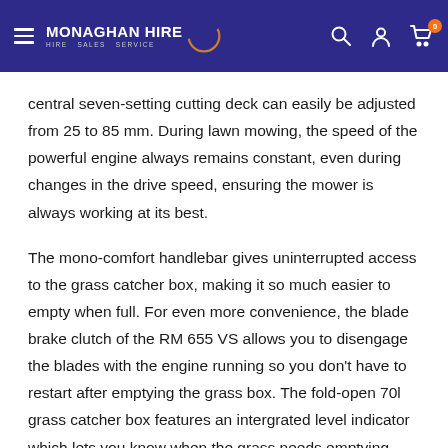MONAGHAN HIRE - HIRE SALES SERVICE
central seven-setting cutting deck can easily be adjusted from 25 to 85 mm. During lawn mowing, the speed of the powerful engine always remains constant, even during changes in the drive speed, ensuring the mower is always working at its best.
The mono-comfort handlebar gives uninterrupted access to the grass catcher box, making it so much easier to empty when full. For even more convenience, the blade brake clutch of the RM 655 VS allows you to disengage the blades with the engine running so you don't have to restart after emptying the grass box. The fold-open 70l grass catcher box features an intergrated level indicator which lets you know when the grass needs emptying. With this petrol lawn mower, cutting large lawns will no longer be a boring chore. The RM 655 VS comes